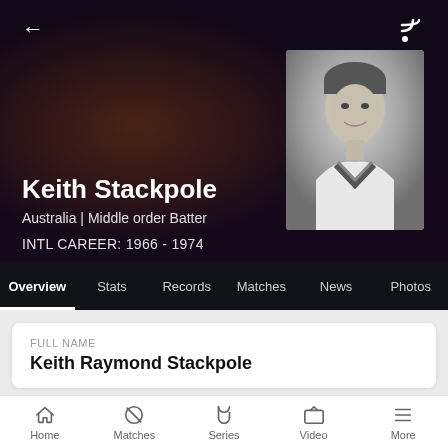Keith Stackpole
Australia | Middle order Batter
INTL CAREER: 1966 - 1974
[Figure (photo): Black and white portrait photo of Keith Stackpole in cricket whites]
Overview | Stats | Records | Matches | News | Photos
FULL NAME
Keith Raymond Stackpole
Home | Matches | Series | Video | More